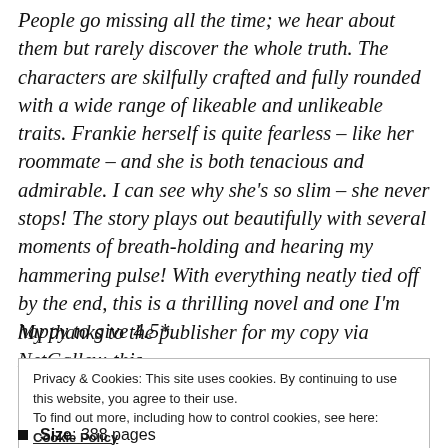People go missing all the time; we hear about them but rarely discover the whole truth. The characters are skilfully crafted and fully rounded with a wide range of likeable and unlikeable traits. Frankie herself is quite fearless – like her roommate – and she is both tenacious and admirable. I can see why she's so slim – she never stops! The story plays out beautifully with several moments of breath-holding and hearing my hammering pulse! With everything neatly tied off by the end, this is a thrilling novel and one I'm happy to give 4.5*.
My thanks to the publisher for my copy via NetGalley; this
Privacy & Cookies: This site uses cookies. By continuing to use this website, you agree to their use.
To find out more, including how to control cookies, see here: Cookie Policy
Size: 388 pages